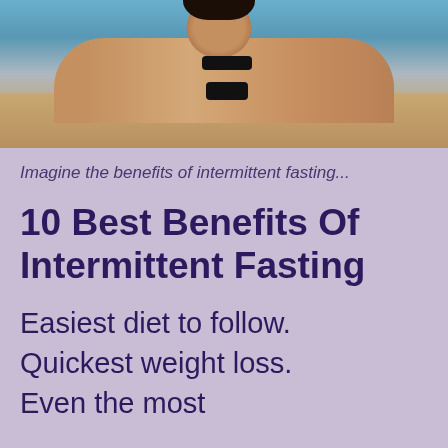[Figure (photo): Woman in black bikini lying on sand at a beach, viewed from behind, with ocean in the background]
Imagine the benefits of intermittent fasting...
10 Best Benefits Of Intermittent Fasting
Easiest diet to follow. Quickest weight loss. Even the most stubborn belly...